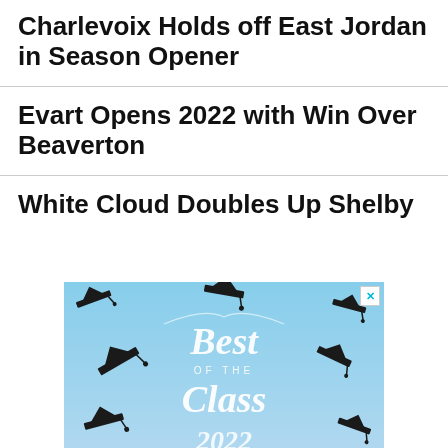Charlevoix Holds off East Jordan in Season Opener
Evart Opens 2022 with Win Over Beaverton
White Cloud Doubles Up Shelby
[Figure (photo): Advertisement image showing graduation caps being tossed in the air with cursive text reading 'Best of the Class 2022' against a blue sky background. An X close button appears in the top right corner.]